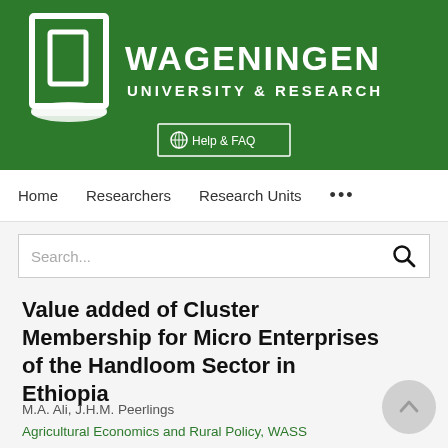[Figure (logo): Wageningen University & Research logo — white building/door icon on green background with WAGENINGEN UNIVERSITY & RESEARCH text in white]
Help & FAQ
Home   Researchers   Research Units   ...
Value added of Cluster Membership for Micro Enterprises of the Handloom Sector in Ethiopia
M.A. Ali, J.H.M. Peerlings
Agricultural Economics and Rural Policy, WASS